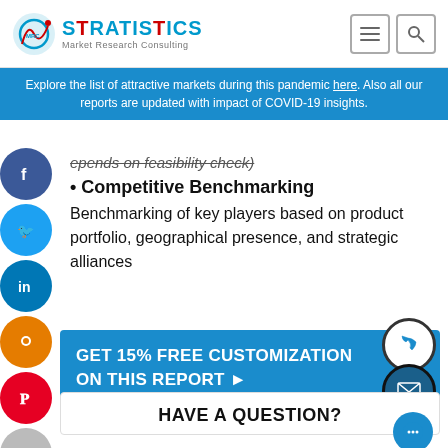Stratistics Market Research Consulting
Explore the list of attractive markets during this pandemic here. Also all our reports are updated with impact of COVID-19 insights.
epends on feasibility check)
• Competitive Benchmarking
Benchmarking of key players based on product portfolio, geographical presence, and strategic alliances
GET 15% FREE CUSTOMIZATION ON THIS REPORT ▶
HAVE A QUESTION?